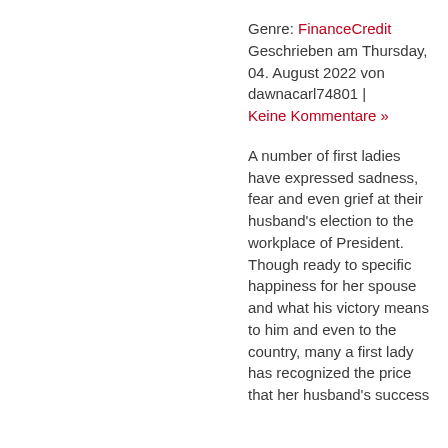Genre: FinanceCredit Geschrieben am Thursday, 04. August 2022 von dawnacarl74801 | Keine Kommentare »
A number of first ladies have expressed sadness, fear and even grief at their husband's election to the workplace of President. Though ready to specific happiness for her spouse and what his victory means to him and even to the country, many a first lady has recognized the price that her husband's success